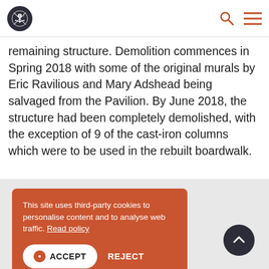[Logo] [Search icon] [Menu icon]
remaining structure. Demolition commences in Spring 2018 with some of the original murals by Eric Ravilious and Mary Adshead being salvaged from the Pavilion. By June 2018, the structure had been completely demolished, with the exception of 9 of the cast-iron columns which were to be used in the rebuilt boardwalk.
This site uses third-party cookies to personalise content and to analyse web traffic. Read policy

ACCEPT   REJECT